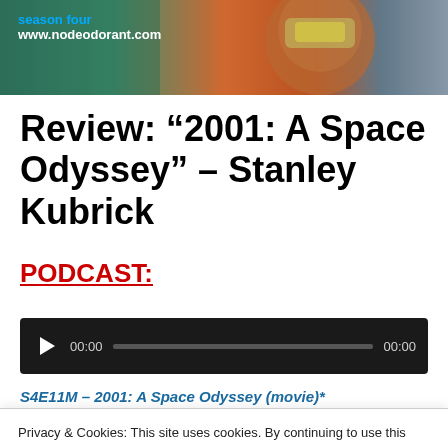[Figure (photo): Website banner image showing a person in a space helmet/suit with glowing visor. Blue text 'season four' and white text 'www.nodeodorant.com' overlaid on left side.]
Review: “2001: A Space Odyssey” – Stanley Kubrick
PODCAST:
[Figure (screenshot): Audio player widget with dark background, play button triangle, time display '00:00', progress bar, and end time '00:00']
S4E11M – 2001: A Space Odyssey (movie)*
Privacy & Cookies: This site uses cookies. By continuing to use this website, you agree to their use.
To find out more, including how to control cookies, see here: Cookie Policy
head straight for the rings of Saturn—rather, Jupiter. Once